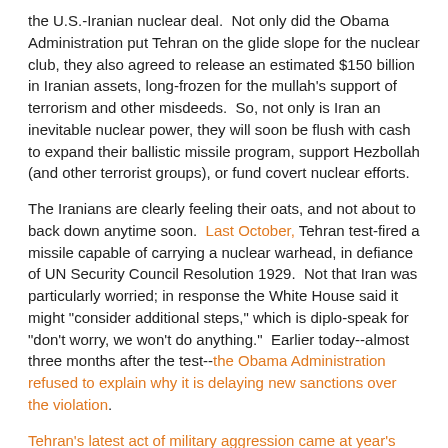the U.S.-Iranian nuclear deal.  Not only did the Obama Administration put Tehran on the glide slope for the nuclear club, they also agreed to release an estimated $150 billion in Iranian assets, long-frozen for the mullah's support of terrorism and other misdeeds.  So, not only is Iran an inevitable nuclear power, they will soon be flush with cash to expand their ballistic missile program, support Hezbollah (and other terrorist groups), or fund covert nuclear efforts.
The Iranians are clearly feeling their oats, and not about to back down anytime soon.  Last October, Tehran test-fired a missile capable of carrying a nuclear warhead, in defiance of UN Security Council Resolution 1929.  Not that Iran was particularly worried; in response the White House said it might "consider additional steps," which is diplo-speak for "don't worry, we won't do anything."  Earlier today--almost three months after the test--the Obama Administration refused to explain why it is delaying new sanctions over the violation.
Tehran's latest act of military aggression came at year's end.  As the USS Harry Truman transited the Strait of Hormuz